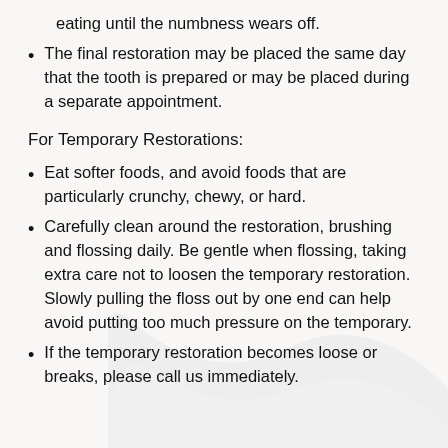eating until the numbness wears off.
The final restoration may be placed the same day that the tooth is prepared or may be placed during a separate appointment.
For Temporary Restorations:
Eat softer foods, and avoid foods that are particularly crunchy, chewy, or hard.
Carefully clean around the restoration, brushing and flossing daily. Be gentle when flossing, taking extra care not to loosen the temporary restoration. Slowly pulling the floss out by one end can help avoid putting too much pressure on the temporary.
If the temporary restoration becomes loose or breaks, please call us immediately.